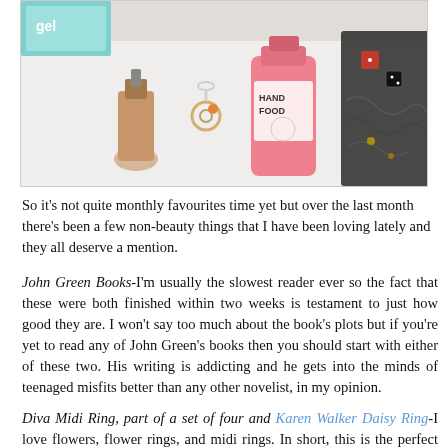[Figure (photo): Flat lay photo of beauty and lifestyle items including a nail polish bottle, a pink hand lotion/cream tube labeled HAND FOOD, a ring keychain, and what appears to be fairy lights or a decorative item with dice, arranged on a white surface.]
So it's not quite monthly favourites time yet but over the last month there's been a few non-beauty things that I have been loving lately and they all deserve a mention.
John Green Books-I'm usually the slowest reader ever so the fact that these were both finished within two weeks is testament to just how good they are. I won't say too much about the book's plots but if you're yet to read any of John Green's books then you should start with either of these two. His writing is addicting and he gets into the minds of teenaged misfits better than any other novelist, in my opinion.
Diva Midi Ring, part of a set of four and Karen Walker Daisy Ring-I love flowers, flower rings, and midi rings. In short, this is the perfect jewelry combo for me right now. You don't want